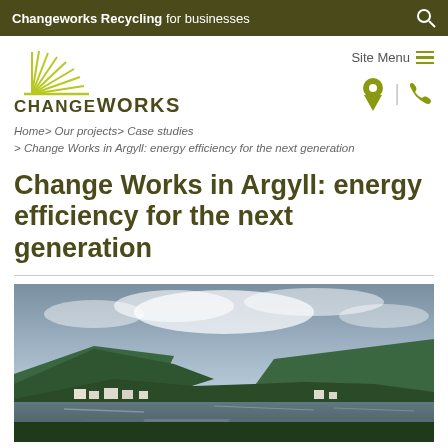Changeworks Recycling for businesses
[Figure (logo): Changeworks logo with sun-ray graphic and CHANGEWORKS text]
Site Menu
Home> Our projects> Case studies > Change Works in Argyll: energy efficiency for the next generation
Change Works in Argyll: energy efficiency for the next generation
[Figure (photo): Scenic photograph of a Scottish loch with green hills, reflective water, small village buildings along the shore, and a cloudy sky]